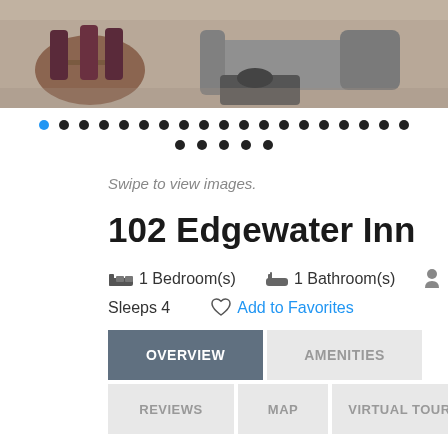[Figure (photo): Interior photo of a hotel/inn room showing a dining table with chairs and a seating area with sofas and coffee table]
[Figure (other): Image carousel dot navigation: first row of 19 dots (first dot highlighted blue), second row of 5 dots (all dark)]
Swipe to view images.
102 Edgewater Inn
1 Bedroom(s)   1 Bathroom(s)   Sleeps 4   Add to Favorites
OVERVIEW   AMENITIES
REVIEWS   MAP   VIRTUAL TOURS